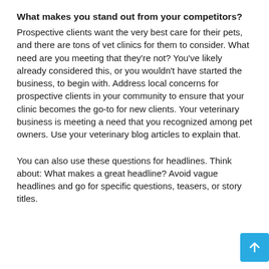What makes you stand out from your competitors?
Prospective clients want the very best care for their pets, and there are tons of vet clinics for them to consider. What need are you meeting that they're not? You've likely already considered this, or you wouldn't have started the business, to begin with. Address local concerns for prospective clients in your community to ensure that your clinic becomes the go-to for new clients. Your veterinary business is meeting a need that you recognized among pet owners. Use your veterinary blog articles to explain that.
You can also use these questions for headlines. Think about: What makes a great headline? Avoid vague headlines and go for specific questions, teasers, or story titles.